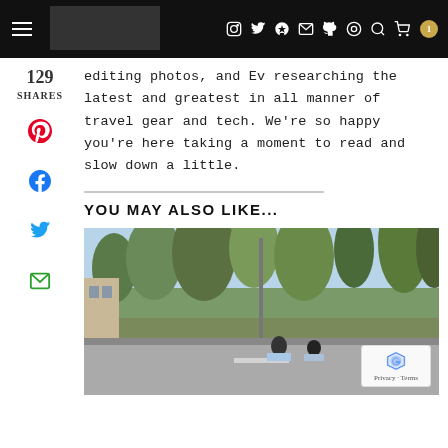Navigation header with hamburger menu, logo, social icons, and cart
129 SHARES
editing photos, and Ev researching the latest and greatest in all manner of travel gear and tech. We're so happy you're here taking a moment to read and slow down a little.
YOU MAY ALSO LIKE...
[Figure (photo): Outdoor scene with trees, road, and people on scooters in a Mediterranean setting]